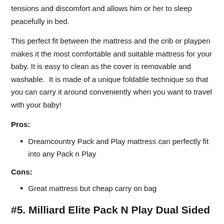tensions and discomfort and allows him or her to sleep peacefully in bed.
This perfect fit between the mattress and the crib or playpen makes it the most comfortable and suitable mattress for your baby. It is easy to clean as the cover is removable and washable.  It is made of a unique foldable technique so that you can carry it around conveniently when you want to travel with your baby!
Pros:
Dreamcountry Pack and Play mattress can perfectly fit into any Pack n Play
Cons:
Great mattress but cheap carry on bag
#5. Milliard Elite Pack N Play Dual Sided